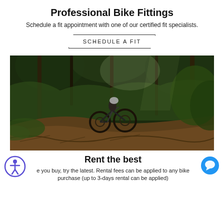Professional Bike Fittings
Schedule a fit appointment with one of our certified fit specialists.
SCHEDULE A FIT
[Figure (photo): Mountain biker riding downhill through a dense forest with ferns and trees, dark moody lighting]
Rent the best
e you buy, try the latest. Rental fees can be applied to any bike purchase (up to 3-days rental can be applied)